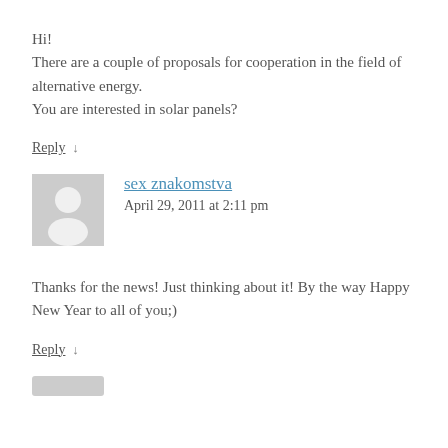Hi!
There are a couple of proposals for cooperation in the field of alternative energy.
You are interested in solar panels?
Reply ↓
sex znakomstva
April 29, 2011 at 2:11 pm
Thanks for the news! Just thinking about it! By the way Happy New Year to all of you;)
Reply ↓